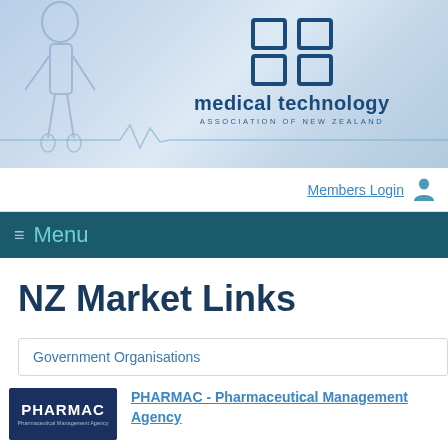[Figure (logo): Medical Technology Association of New Zealand logo with 4 blue squares icon above the text 'medical technology ASSOCIATION OF NEW ZEALAND', overlaid on a blue-toned background with a faint skeleton/X-ray figure]
Members Login
≡ Menu
NZ Market Links
Government Organisations
[Figure (logo): PHARMAC - Pharmaceutical Management Agency logo, white text on dark navy blue background]
PHARMAC - Pharmaceutical Management Agency